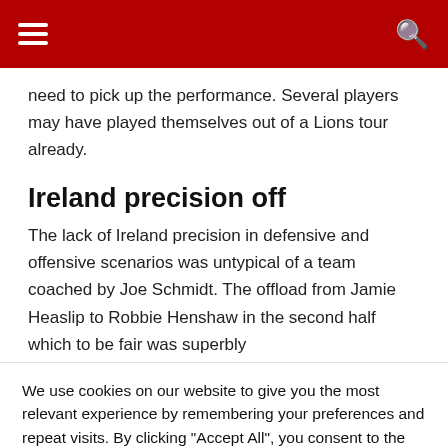[hamburger menu] [search icon]
need to pick up the performance. Several players may have played themselves out of a Lions tour already.
Ireland precision off
The lack of Ireland precision in defensive and offensive scenarios was untypical of a team coached by Joe Schmidt. The offload from Jamie Heaslip to Robbie Henshaw in the second half which to be fair was superbly
We use cookies on our website to give you the most relevant experience by remembering your preferences and repeat visits. By clicking "Accept All", you consent to the use of ALL the cookies. However, you may visit "Cookie Settings" to provide a controlled consent.